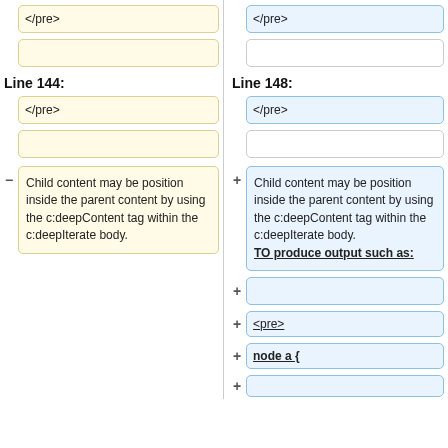</pre> (left top, yellow empty)
</pre> (right top, blue empty)
empty yellow box left
empty blue box right
Line 144:
Line 148:
</pre> (left, yellow)
</pre> (right, blue)
empty yellow box left 2
empty blue box right 2
Child content may be position inside the parent content by using the c:deepContent tag within the c:deepIterate body.
Child content may be position inside the parent content by using the c:deepContent tag within the c:deepIterate body. TO produce output such as:
(empty blue box)
<pre>
node a {